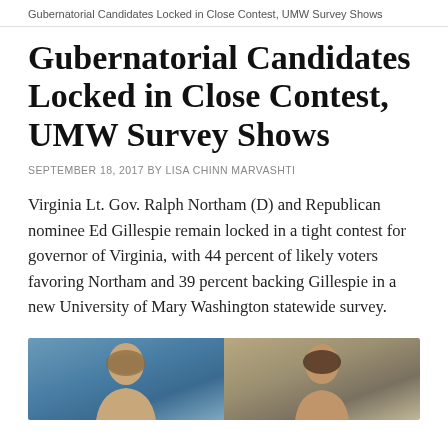Gubernatorial Candidates Locked in Close Contest, UMW Survey Shows
Gubernatorial Candidates Locked in Close Contest, UMW Survey Shows
SEPTEMBER 18, 2017 BY LISA CHINN MARVASHTI
Virginia Lt. Gov. Ralph Northam (D) and Republican nominee Ed Gillespie remain locked in a tight contest for governor of Virginia, with 44 percent of likely voters favoring Northam and 39 percent backing Gillespie in a new University of Mary Washington statewide survey.
[Figure (photo): Side-by-side portrait photos of two gubernatorial candidates, a man on the left against a blue background and a man on the right against an outdoor background]